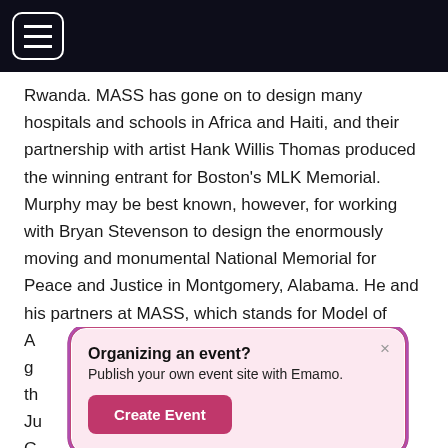Rwanda. MASS has gone on to design many hospitals and schools in Africa and Haiti, and their partnership with artist Hank Willis Thomas produced the winning entrant for Boston's MLK Memorial. Murphy may be best known, however, for working with Bryan Stevenson to design the enormously moving and monumental National Memorial for Peace and Justice in Montgomery, Alabama. He and his partners at MASS, which stands for Model of A... g... th... Ju... G...
Organizing an event?
Publish your own event site with Emamo.
Create Event